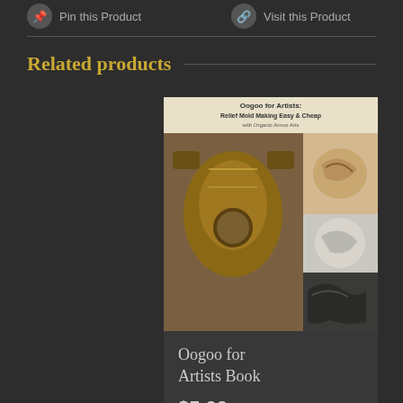Pin this Product   Visit this Product
Related products
[Figure (photo): Product image for 'Oogoo for Artists: Relief Mold Making Easy & Cheap with Organic Armor Arts' book cover showing armored chest sculpture and clay/material samples]
Oogoo for Artists Book
$5.00
Add to   Details